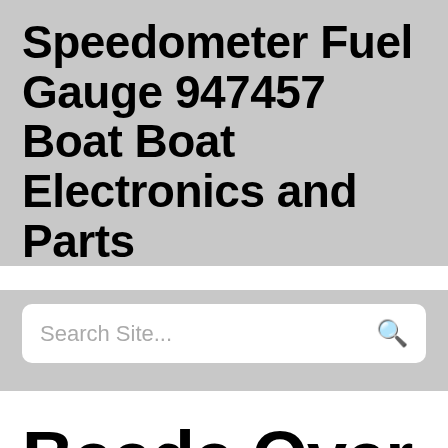Speedometer Fuel Gauge 947457 Boat Boat Electronics and Parts
[Figure (other): Search box with placeholder text 'Search Site...' and a magnifying glass icon]
Beede Over